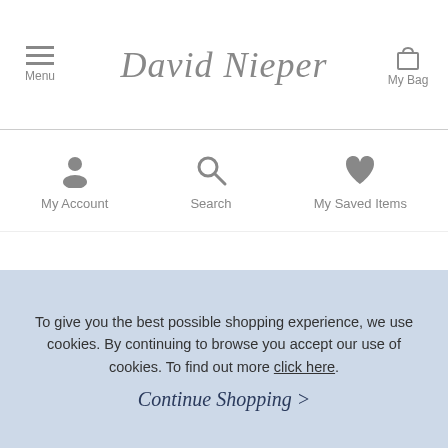Menu | David Nieper | My Bag
[Figure (screenshot): Navigation icon row with My Account (person icon), Search (magnifying glass icon), and My Saved Items (heart icon)]
To give you the best possible shopping experience, we use cookies. By continuing to browse you accept our use of cookies. To find out more click here.
Continue Shopping >